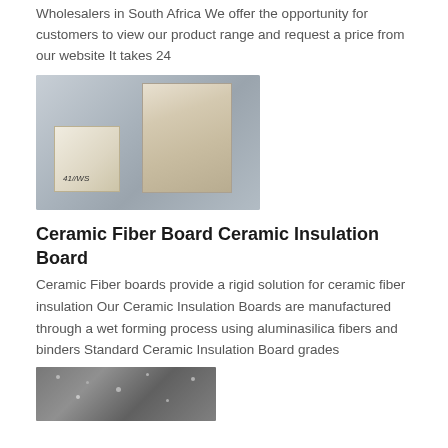Wholesalers in South Africa We offer the opportunity for customers to view our product range and request a price from our website It takes 24
[Figure (photo): Two ceramic fiber insulation board blocks on a gray background: one larger block at the back right and a smaller labeled block at the front left with text '41//WS']
Ceramic Fiber Board Ceramic Insulation Board
Ceramic Fiber boards provide a rigid solution for ceramic fiber insulation Our Ceramic Insulation Boards are manufactured through a wet forming process using aluminasilica fibers and binders Standard Ceramic Insulation Board grades
[Figure (photo): Partial view of a dark gray speckled ceramic or insulation board material at the bottom of the page]